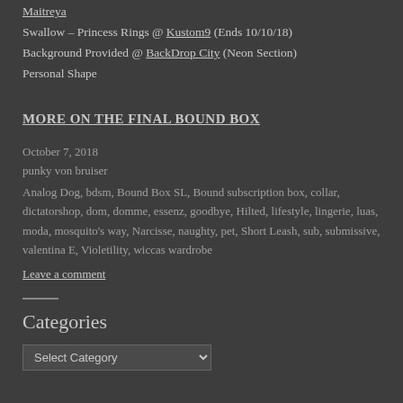Catwa – Catya head @ Mumsstore
Maitreya
Swallow – Princess Rings @ Kustom9 (Ends 10/10/18)
Background Provided @ BackDrop City (Neon Section)
Personal Shape
MORE ON THE FINAL BOUND BOX
October 7, 2018
punky von bruiser
Analog Dog, bdsm, Bound Box SL, Bound subscription box, collar, dictatorshop, dom, domme, essenz, goodbye, Hilted, lifestyle, lingerie, luas, moda, mosquito's way, Narcisse, naughty, pet, Short Leash, sub, submissive, valentina E, Violetility, wiccas wardrobe
Leave a comment
Categories